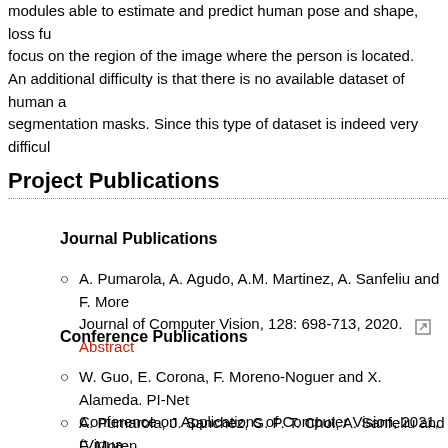modules able to estimate and predict human pose and shape, loss fu focus on the region of the image where the person is located.
An additional difficulty is that there is no available dataset of human a segmentation masks. Since this type of dataset is indeed very difficul
Project Publications
Journal Publications
A. Pumarola, A. Agudo, A.M. Martinez, A. Sanfeliu and F. More Journal of Computer Vision, 128: 698-713, 2020. Abstract
Conference Publications
W. Guo, E. Corona, F. Moreno-Noguer and X. Alameda. PI-Net Conference on Applications of Computer Vision, 2021, (Virtua
A. Pumarola, J. Sanchez, G. P. T. Choi, A. Sanfeliu and F. Moren on Computer Vision, 2019, Seoul, pp. 2242-2251. Abstract